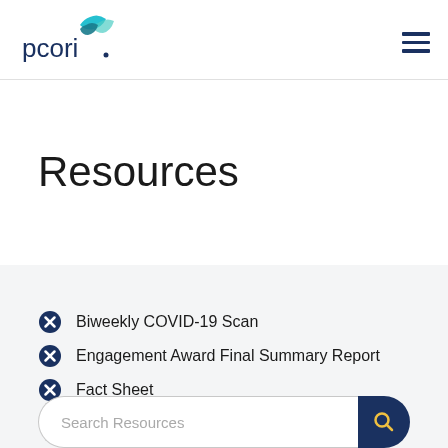pcori
Resources
Biweekly COVID-19 Scan
Engagement Award Final Summary Report
Fact Sheet
Search Resources